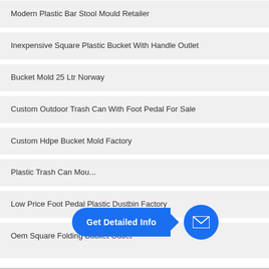Modern Plastic Bar Stool Mould Retailer
Inexpensive Square Plastic Bucket With Handle Outlet
Bucket Mold 25 Ltr Norway
Custom Outdoor Trash Can With Foot Pedal For Sale
Custom Hdpe Bucket Mold Factory
Plastic Trash Can Mou...
Low Price Foot Pedal Plastic Dustbin Factory
Oem Square Folding Bucket Outlet
[Figure (infographic): Blue 'Get Detailed Info' button with arrow pointing to a blue circle with a white envelope/mail icon]